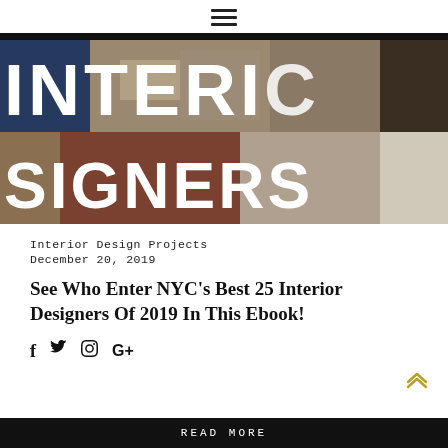☰
[Figure (photo): Interior design image with large white bold text overlay reading 'INTERIOR DESIGNERS' across two lines]
Interior Design Projects
December 20, 2019
See Who Enter NYC's Best 25 Interior Designers Of 2019 In This Ebook!
Social share icons: Facebook, Twitter, Pinterest, Google+
READ MORE